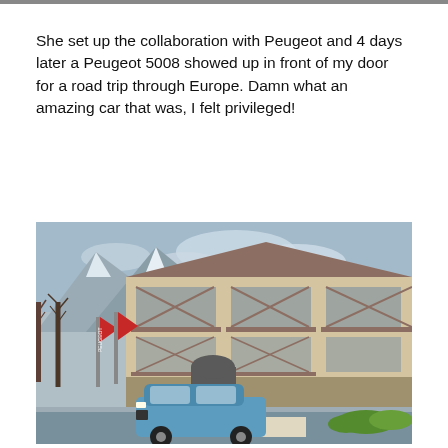She set up the collaboration with Peugeot and 4 days later a Peugeot 5008 showed up in front of my door for a road trip through Europe. Damn what an amazing car that was, I felt privileged!
[Figure (photo): A Peugeot SUV (blue) parked in front of an Alpine-style hotel building with wooden balconies and stone facade. Snow-capped mountains visible in background, bare winter trees on the left, red branded flags/banners near the entrance. A sign reading 'alpin rental' is visible at the bottom.]